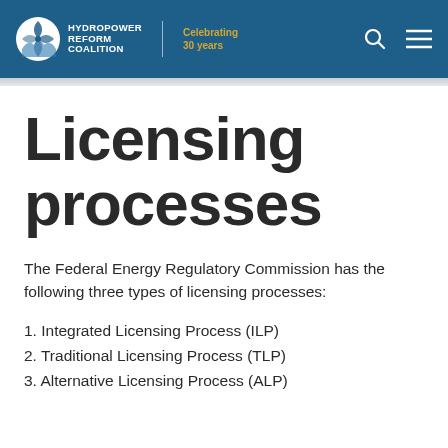HYDROPOWER REFORM COALITION | Celebrating 30 years
Licensing processes
The Federal Energy Regulatory Commission has the following three types of licensing processes:
1. Integrated Licensing Process (ILP)
2. Traditional Licensing Process (TLP)
3. Alternative Licensing Process (ALP)